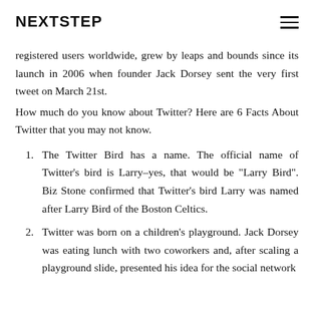NEXTSTEP
registered users worldwide, grew by leaps and bounds since its launch in 2006 when founder Jack Dorsey sent the very first tweet on March 21st.
How much do you know about Twitter? Here are 6 Facts About Twitter that you may not know.
The Twitter Bird has a name. The official name of Twitter's bird is Larry–yes, that would be "Larry Bird". Biz Stone confirmed that Twitter's bird Larry was named after Larry Bird of the Boston Celtics.
Twitter was born on a children's playground. Jack Dorsey was eating lunch with two coworkers and, after scaling a playground slide, presented his idea for the social network